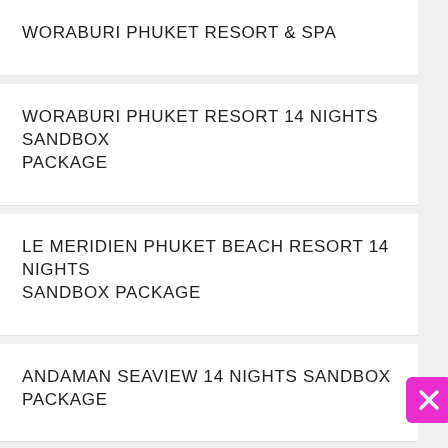WORABURI PHUKET RESORT & SPA
WORABURI PHUKET RESORT 14 NIGHTS SANDBOX PACKAGE
LE MERIDIEN PHUKET BEACH RESORT 14 NIGHTS SANDBOX PACKAGE
ANDAMAN SEAVIEW 14 NIGHTS SANDBOX PACKAGE